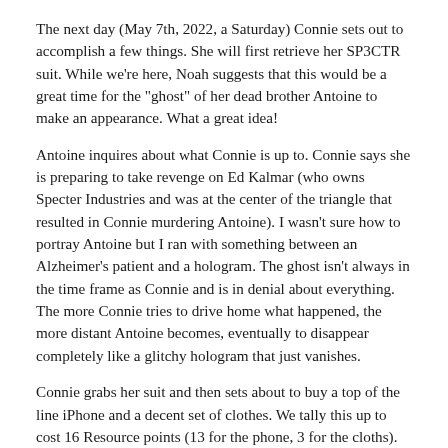The next day (May 7th, 2022, a Saturday) Connie sets out to accomplish a few things. She will first retrieve her SP3CTR suit. While we're here, Noah suggests that this would be a great time for the "ghost" of her dead brother Antoine to make an appearance. What a great idea!
Antoine inquires about what Connie is up to. Connie says she is preparing to take revenge on Ed Kalmar (who owns Specter Industries and was at the center of the triangle that resulted in Connie murdering Antoine). I wasn't sure how to portray Antoine but I ran with something between an Alzheimer's patient and a hologram. The ghost isn't always in the time frame as Connie and is in denial about everything. The more Connie tries to drive home what happened, the more distant Antoine becomes, eventually to disappear completely like a glitchy hologram that just vanishes.
Connie grabs her suit and then sets about to buy a top of the line iPhone and a decent set of clothes. We tally this up to cost 16 Resource points (13 for the phone, 3 for the cloths). Connie started with 20, so she now has 4 remaining.
Connie is quite a powerful character with a number of abilities in the Incredible and Amazing range. Noah rolled a Resources of Incredible, which is more than he wanted for Connie to have at the outset. So instead of re-rolling, we decided that some portion of her resources would be locked up (in offshore accounts and maybe even some of that may be assets she is entitled to from.